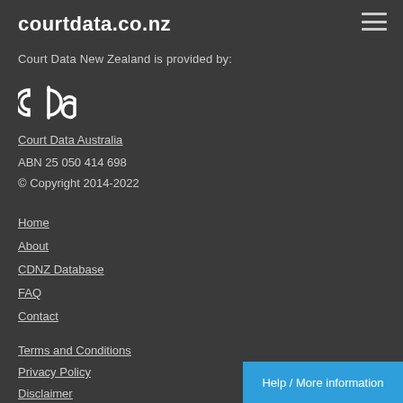courtdata.co.nz
Court Data New Zealand is provided by:
[Figure (logo): CDA logo — stylized letters 'cda' in white outline on dark background]
Court Data Australia
ABN 25 050 414 698
© Copyright 2014-2022
Home
About
CDNZ Database
FAQ
Contact
Terms and Conditions
Privacy Policy
Disclaimer
Help / More information